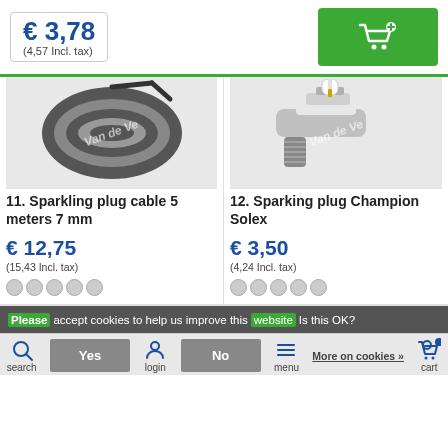€ 3,78 (4,57 Incl. tax)
[Figure (screenshot): Green add-to-cart button with shopping cart and plus icon]
[Figure (photo): Black sparkling plug cable coiled, watermark 'Van de Ve']
[Figure (photo): Spark plug Champion Solex, watermark 'Van de Ve']
11. Sparkling plug cable 5 meters 7 mm
12. Sparking plug Champion Solex
€ 12,75
(15,43 Incl. tax)
€ 3,50
(4,24 Incl. tax)
Please accept cookies to help us improve this website Is this OK?
Yes
No
More on cookies »
search
login
menu
wishlist
cart